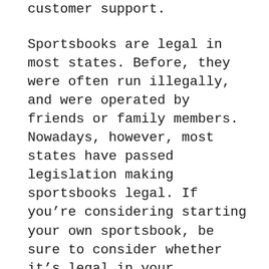customer support.
Sportsbooks are legal in most states. Before, they were often run illegally, and were operated by friends or family members. Nowadays, however, most states have passed legislation making sportsbooks legal. If you’re considering starting your own sportsbook, be sure to consider whether it’s legal in your jurisdiction. If you’re not sure, talk to a local sports betting expert. They can answer your questions and help you set up a legal sportsbook.
Online sportsbooks can also offer casino games, including slot machines. These games are known for their fun gameplay and unique graphics. Moreover, they’re available 24 hours a day. Some sportsbooks